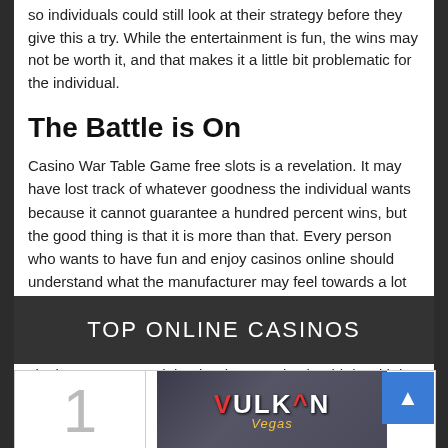so individuals could still look at their strategy before they give this a try. While the entertainment is fun, the wins may not be worth it, and that makes it a little bit problematic for the individual.
The Battle is On
Casino War Table Game free slots is a revelation. It may have lost track of whatever goodness the individual wants because it cannot guarantee a hundred percent wins, but the good thing is that it is more than that. Every person who wants to have fun and enjoy casinos online should understand what the manufacturer may feel towards a lot of things. There are so many reasons for people to enjoy this release and the most important part is to make sure that people would see more than that. With that, this online slot is a must try and that is what people should do with it.
TOP ONLINE CASINOS
[Figure (logo): Vulkan Vegas casino logo on dark blurred background]